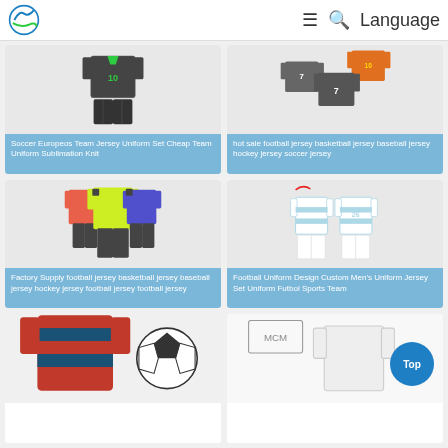Logo | Menu | Search | Language
[Figure (illustration): Soccer jersey uniform set with dark shorts and green number 10]
Soccer Europeos Team Jersey Uniform Set Cheap Team Uniform Sublimation Knit
[Figure (illustration): Football jersey basketball jersey baseball jersey hockey jersey soccer jersey - multiple jerseys shown]
hot sale football jersey basketball jersey baseball jersey hockey jersey soccer jersey
[Figure (illustration): Factory supply football jersey in orange, yellow-green and purple colors with black shorts]
Factory Supply football jersey basketball jersey baseball jersey hockey jersey football jersey football jersey
[Figure (illustration): Football Uniform Design Custom Men's Uniform Jersey Set with blue and white stripes]
Football Uniform Design Custom Men's Uniform Jersey Set Uniform Futbol Sports Team
[Figure (illustration): Red and blue striped soccer jersey with ball - bottom partial view]
[Figure (illustration): Logo and jersey product - bottom partial view]